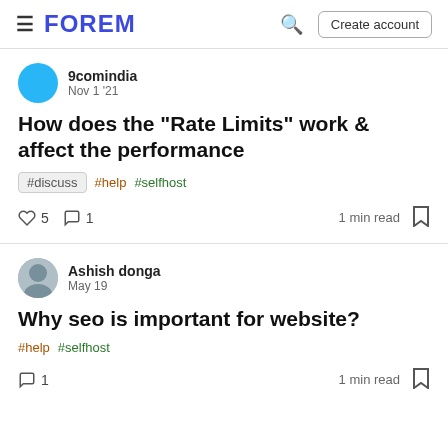≡ FOREM — Search | Create account
9comindia
Nov 1 '21
How does the "Rate Limits" work & affect the performance
#discuss  #help  #selfhost
♡ 5   💬 1   1 min read   🔖
Ashish donga
May 19
Why seo is important for website?
#help  #selfhost
💬 1   1 min read   🔖